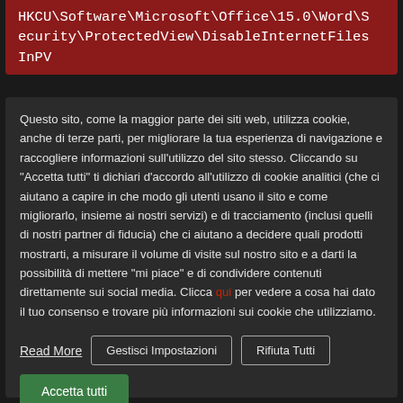HKCU\Software\Microsoft\Office\15.0\Word\Security\ProtectedView\DisableInternetFilesInPV
Questo sito, come la maggior parte dei siti web, utilizza cookie, anche di terze parti, per migliorare la tua esperienza di navigazione e raccogliere informazioni sull'utilizzo del sito stesso. Cliccando su "Accetta tutti" ti dichiari d'accordo all'utilizzo di cookie analitici (che ci aiutano a capire in che modo gli utenti usano il sito e come migliorarlo, insieme ai nostri servizi) e di tracciamento (inclusi quelli di nostri partner di fiducia) che ci aiutano a decidere quali prodotti mostrarti, a misurare il volume di visite sul nostro sito e a darti la possibilità di mettere "mi piace" e di condividere contenuti direttamente sui social media. Clicca qui per vedere a cosa hai dato il tuo consenso e trovare più informazioni sui cookie che utilizziamo.
Read More
Gestisci Impostazioni
Rifiuta Tutti
Accetta tutti